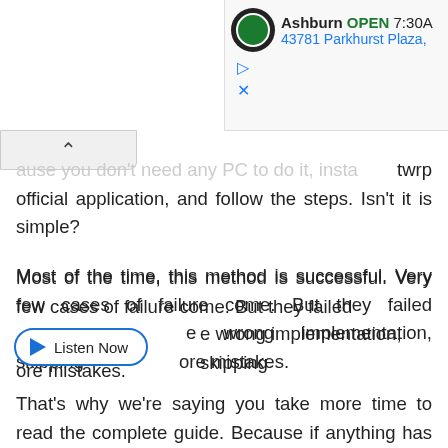[Figure (screenshot): Advertisement banner showing an auto parts store. Logo circle, 'Ashburn OPEN 7:30A', '43781 Parkhurst Plaza,' in blue text, with a play triangle icon and X icon below.]
...ause you don't need any PC to do it, install twrp official application, and follow the steps. Isn't it is simple?
Most of the time, this method is successful. Very few cases of failure come. But they failed due to wrong implementation, skipping steps and more mistakes.
[Figure (other): Listen Now button with blue play triangle icon and blue rounded border]
That's why we're saying you take more time to read the complete guide. Because if anything has gone wrong, then the device can brick...